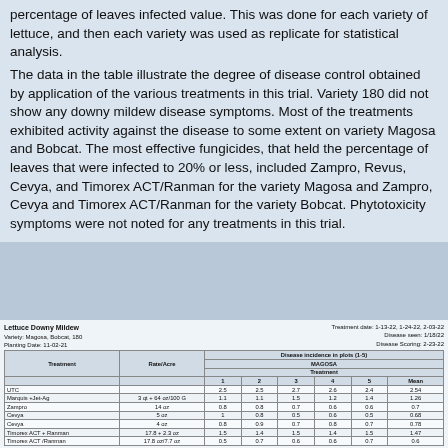percentage of leaves infected value. This was done for each variety of lettuce, and then each variety was used as replicate for statistical analysis.
The data in the table illustrate the degree of disease control obtained by application of the various treatments in this trial. Variety 180 did not show any downy mildew disease symptoms. Most of the treatments exhibited activity against the disease to some extent on variety Magosa and Bobcat. The most effective fungicides, that held the percentage of leaves that were infected to 20% or less, included Zampro, Revus, Cevya, and Timorex ACT/Ranman for the variety Magosa and Zampro, Cevya and Timorex ACT/Ranman for the variety Bobcat. Phytotoxicity symptoms were not noted for any treatments in this trial.
| Treatment | Rate/Acre | 1 | 2 | 3 | 4 | 5 | Mean |
| --- | --- | --- | --- | --- | --- | --- | --- |
| UTC |  | 2.5 | 2.5 | 2.7 | 2.6 | 2.4 | 2.54 |
| Marquis +Jet-Ag | 3 qt + 64 oz/100 G | 1.1 | 1.1 | 1.5 | 1.2 | 1.4 | 1.26 |
| Zampro | 14 oz | 0.8 | 0.8 | 0.7 | 0.6 | 0.6 | 0.7 |
| Cevya | 5 oz | 1 | 0.8 | 0.5 | 0.6 | 0.5 | 0.68 |
| Cevya | 4 oz | 0.8 | 0.9 | 0.7 | 0.8 | 0.7 | 0.78 |
| Timorex ACT + Ranman | 17.8 + 2.3 oz | 1.5 | 1.4 | 1.5 | 1.4 | 1.5 | 1.47 |
| Timorex ACT /Ranman | 17.8 oz/7.7 oz | 0.5 | 0.7 | 0.6 | 0.6 | 0.7 | 0.6 |